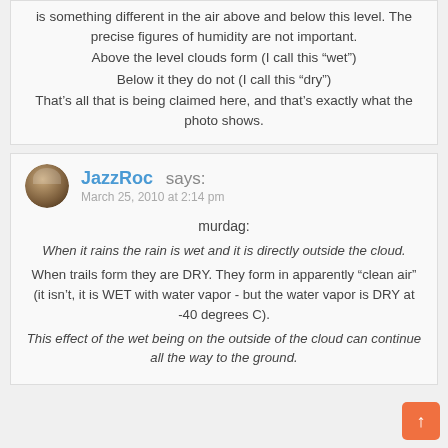is something different in the air above and below this level. The precise figures of humidity are not important. Above the level clouds form (I call this “wet”) Below it they do not (I call this “dry”) That’s all that is being claimed here, and that’s exactly what the photo shows.
JazzRoc says: March 25, 2010 at 2:14 pm
murdag: When it rains the rain is wet and it is directly outside the cloud. When trails form they are DRY. They form in apparently “clean air” (it isn’t, it is WET with water vapor - but the water vapor is DRY at -40 degrees C). This effect of the wet being on the outside of the cloud can continue all the way to the ground.